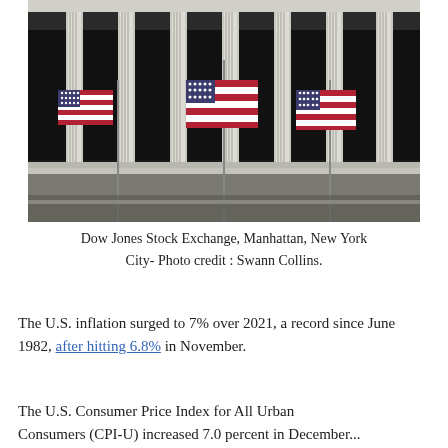[Figure (photo): Photograph of the New York Stock Exchange building facade showing tall Greek-revival columns and three American flags hanging between the columns.]
Dow Jones Stock Exchange, Manhattan, New York City- Photo credit : Swann Collins.
The U.S. inflation surged to 7% over 2021, a record since June 1982, after hitting 6.8% in November.
The U.S. Consumer Price Index for All Urban Consumers (CPI-U) increased 7.0 percent in December...